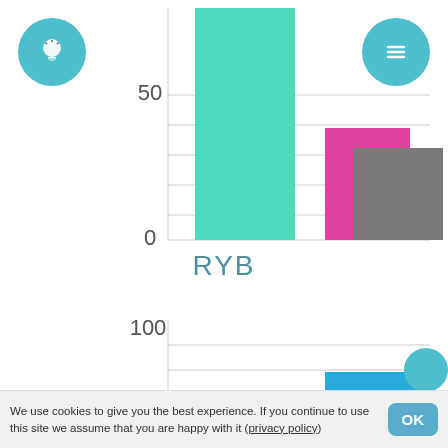[Figure (bar-chart): RYB]
[Figure (bar-chart): ]
We use cookies to give you the best experience. If you continue to use this site we assume that you are happy with it (privacy policy)